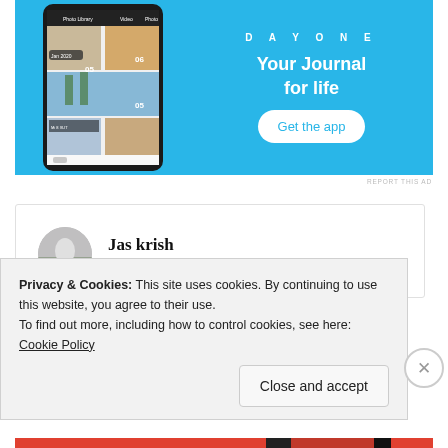[Figure (screenshot): Day One app advertisement banner with phone screenshot on left showing journal app interface, and on right text 'DAY ONE', 'Your Journal for life', and 'Get the app' button on blue background]
REPORT THIS AD
Jas krish
26th Jun 2021 at 3:24 am
Privacy & Cookies: This site uses cookies. By continuing to use this website, you agree to their use.
To find out more, including how to control cookies, see here: Cookie Policy
Close and accept